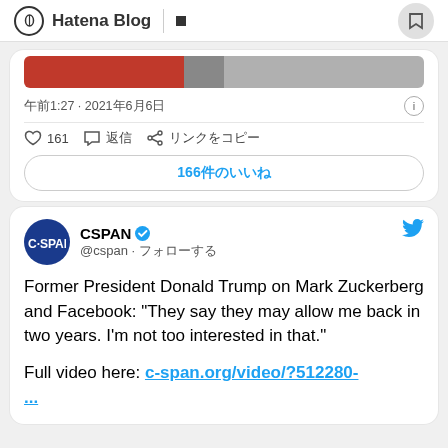Hatena Blog
午前1:27 · 2021年6月6日
♡ 161  コメント  リンクをコピー
166件のいいね
CSPAN @cspan · フォローする
Former President Donald Trump on Mark Zuckerberg and Facebook: "They say they may allow me back in two years. I'm not too interested in that."
Full video here: c-span.org/video/?512280-...